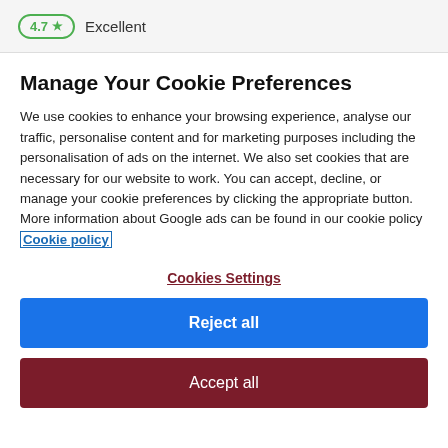4.7 ★  Excellent
Manage Your Cookie Preferences
We use cookies to enhance your browsing experience, analyse our traffic, personalise content and for marketing purposes including the personalisation of ads on the internet. We also set cookies that are necessary for our website to work. You can accept, decline, or manage your cookie preferences by clicking the appropriate button. More information about Google ads can be found in our cookie policy Cookie policy
Cookies Settings
Reject all
Accept all